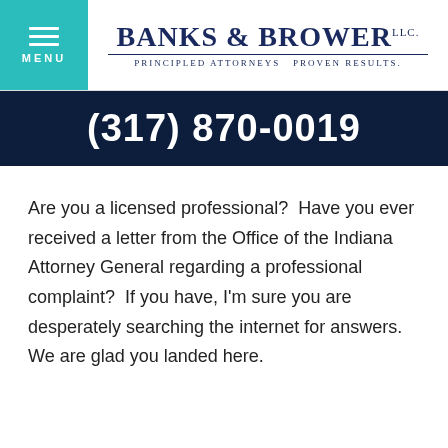[Figure (logo): Banks & Brower LLC logo with tagline 'Principled Attorneys Proven Results.' alongside a teal menu button]
(317) 870-0019
Are you a licensed professional?  Have you ever received a letter from the Office of the Indiana Attorney General regarding a professional complaint?  If you have, I'm sure you are desperately searching the internet for answers. We are glad you landed here.